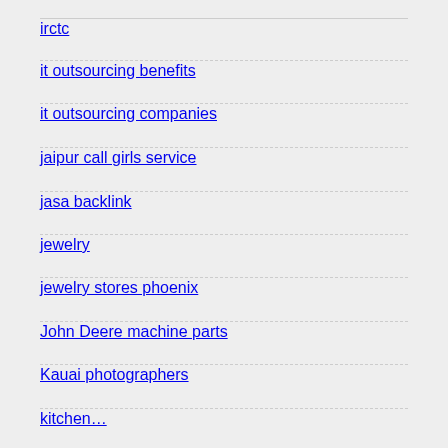irctc
it outsourcing benefits
it outsourcing companies
jaipur call girls service
jasa backlink
jewelry
jewelry stores phoenix
John Deere machine parts
Kauai photographers
kitchen…